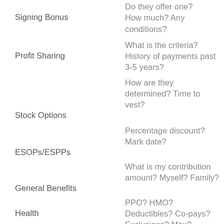| Topic | Questions |
| --- | --- |
| Signing Bonus | Do they offer one? How much? Any conditions? |
| Profit Sharing | What is the criteria? History of payments past 3-5 years? |
| Stock Options | How are they determined? Time to vest? |
| ESOPs/ESPPs | Percentage discount? Mark date? |
| General Benefits | What is my contribution amount? Myself? Family? |
| Health | PPO? HMO? Deductibles? Co-pays? Exclusions? Max? |
| Dental | Deductibles? Co-pays? Orthodontics? Max? |